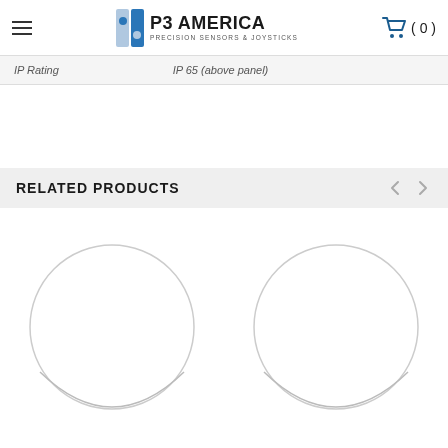P3 AMERICA – PRECISION SENSORS & JOYSTICKS | Cart (0)
| IP Rating | IP 65 (above panel) |
| --- | --- |
RELATED PRODUCTS
[Figure (photo): Circular product image placeholder – left product]
[Figure (photo): Circular product image placeholder – right product]